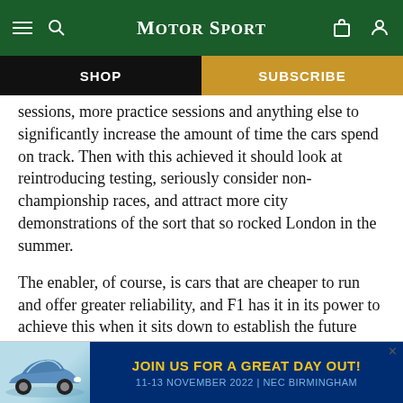Motor Sport
SHOP | SUBSCRIBE
sessions, more practice sessions and anything else to significantly increase the amount of time the cars spend on track. Then with this achieved it should look at reintroducing testing, seriously consider non-championship races, and attract more city demonstrations of the sort that so rocked London in the summer.
The enabler, of course, is cars that are cheaper to run and offer greater reliability, and F1 has it in its power to achieve this when it sits down to establish the future engine rules in the coming mon
[Figure (infographic): Advertisement banner: JOIN US FOR A GREAT DAY OUT! 11-13 NOVEMBER 2022 | NEC BIRMINGHAM, with a blue/teal Porsche 911 car image on the left, dark blue background.]